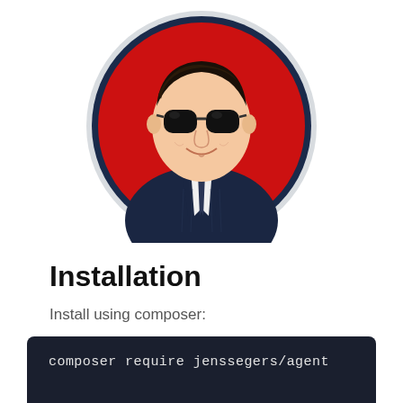[Figure (illustration): Circular logo illustration of a man in a dark pinstripe suit with aviator sunglasses on a red background, with a dark blue circular border and light gray outer ring]
Installation
Install using composer:
composer require jenssegers/agent